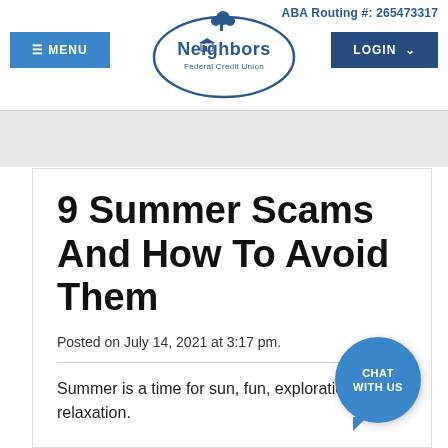ABA Routing #: 265473317
≡ MENU
[Figure (logo): Neighbors Federal Credit Union logo — oval with tree icon and text]
LOGIN
9 Summer Scams And How To Avoid Them
Posted on July 14, 2021 at 3:17 pm.
Summer is a time for sun, fun, exploration and relaxation.